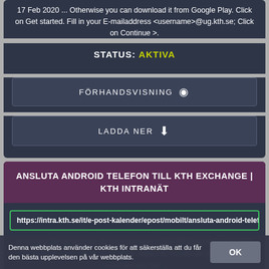17 Feb 2020 ... Otherwise you can download it from Google Play. Click on Get started. Fill in your E-mailaddress <username>@ug.kth.se; Click on Continue >.
STATUS: AKTIVA
FÖRHANDSVISNING
LADDA NER
ANSLUTA ANDROID TELEFON TILL KTH EXCHANGE | KTH INTRANÄT
https://intra.kth.se/it/e-post-kalender/epost/mobilt/ansluta-android-telef
Anvisning för att ansluta en Android telefon till KTH Exchange (specifikt för Outlook app). Se till att Outlook appen är installerad på telefonen. Ladda annars ner ...
Denna webbplats använder cookies för att säkerställa att du får den bästa upplevelsen på vår webbplats.